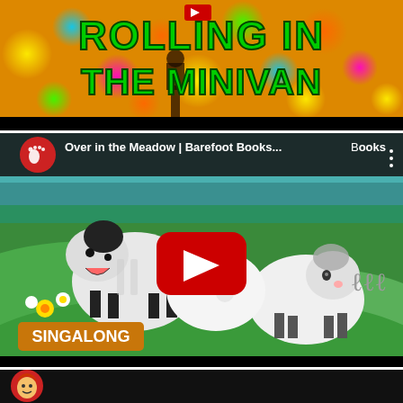[Figure (screenshot): YouTube video thumbnail for 'Rolling in the Minivan' - colorful background with large green bold text reading 'ROLLING IN THE MINIVAN', person visible at bottom]
[Figure (screenshot): YouTube video player for 'Over in the Meadow | Barefoot Books...' showing animated sheep characters in a meadow with flowers, red YouTube play button in center, 'SINGALONG' orange label at bottom left, Barefoot Books logo (red footprint icon) in top left]
[Figure (screenshot): Partial YouTube video thumbnail at bottom - shows circular avatar icon of animated girl character on left, black background, content cut off]